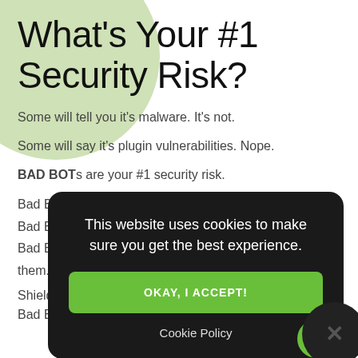What's Your #1 Security Risk?
Some will tell you it's malware. It's not.
Some will say it's plugin vulnerabilities. Nope.
BAD BOTs are your #1 security risk.
Bad Bots brute force attack your logins.
Bad Bots give hackers access to your site.
Bad Bots destabilize your site. You don't even notice them.
Shield Blocks Bad Bots. And more. Complete Bad Bot Protection.
This website uses cookies to make sure you get the best experience.
OKAY, I ACCEPT!
Cookie Policy